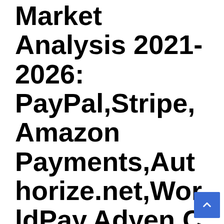Market Analysis 2021-2026: PayPal,Stripe,Amazon Payments,Authorize.net,WorldPay,Adyen,CCBill,2Checkout,FirstData,SecurePay,PayU,MOLPay,Paymill,GMO,Alipay,Tenpay,Pingtt,Boleto